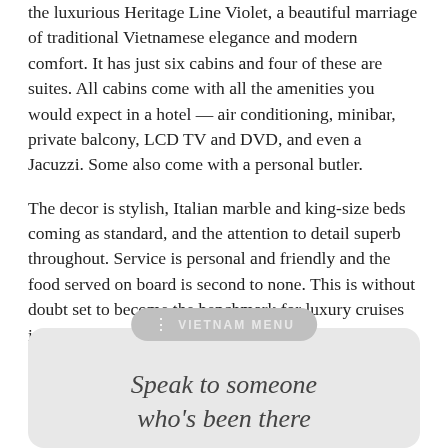the luxurious Heritage Line Violet, a beautiful marriage of traditional Vietnamese elegance and modern comfort. It has just six cabins and four of these are suites. All cabins come with all the amenities you would expect in a hotel — air conditioning, minibar, private balcony, LCD TV and DVD, and even a Jacuzzi. Some also come with a personal butler.
The decor is stylish, Italian marble and king-size beds coming as standard, and the attention to detail superb throughout. Service is personal and friendly and the food served on board is second to none. This is without doubt set to become the benchmark for luxury cruises in this UNESCO World Heritage protected bay.
OUR RATING:  First Class [i]
[Figure (infographic): A rounded banner box with a pill label reading 'VIETNAM MENU' in grey, and italic text below reading 'Speak to someone who's been there']